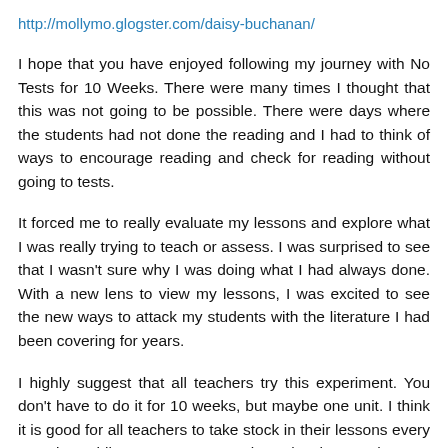http://mollymo.glogster.com/daisy-buchanan/
I hope that you have enjoyed following my journey with No Tests for 10 Weeks. There were many times I thought that this was not going to be possible. There were days where the students had not done the reading and I had to think of ways to encourage reading and check for reading without going to tests.
It forced me to really evaluate my lessons and explore what I was really trying to teach or assess. I was surprised to see that I wasn't sure why I was doing what I had always done. With a new lens to view my lessons, I was excited to see the new ways to attack my students with the literature I had been covering for years.
I highly suggest that all teachers try this experiment. You don't have to do it for 10 weeks, but maybe one unit. I think it is good for all teachers to take stock in their lessons every once in a while. I want to constantly evolve the way that I